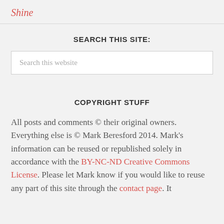Shine
SEARCH THIS SITE:
Search this website
COPYRIGHT STUFF
All posts and comments © their original owners. Everything else is © Mark Beresford 2014. Mark's information can be reused or republished solely in accordance with the BY-NC-ND Creative Commons License. Please let Mark know if you would like to reuse any part of this site through the contact page. It